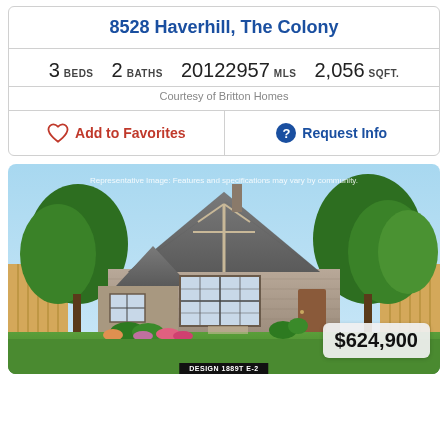8528 Haverhill, The Colony
3 BEDS   2 BATHS   20122957 MLS   2,056 SQFT.
Courtesy of Britton Homes
Add to Favorites
Request Info
[Figure (photo): Front exterior rendering of a single-story brick home with gabled roof, large front window, landscaping with flowers, trees in background, wooden fence on sides. Price badge showing $624,900 in lower right corner. Design label 'DESIGN 1889T E-2' at bottom center.]